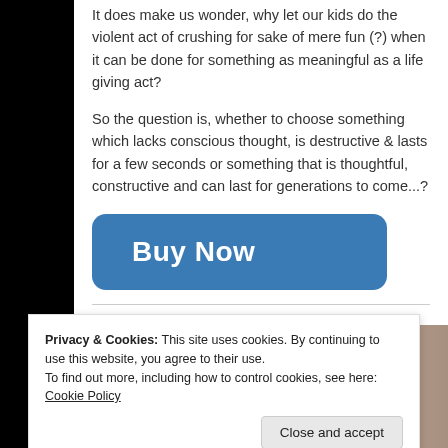It does make us wonder, why let our kids do the violent act of crushing for sake of mere fun (?) when it can be done for something as meaningful as a life giving act?
So the question is, whether to choose something which lacks conscious thought, is destructive & lasts for a few seconds or something that is thoughtful, constructive and can last for generations to come...?
[Figure (other): A blue rounded-rectangle button with white bold text reading 'Buy Now']
[Figure (photo): Partial photo at bottom of page showing what appears to be craft or sewing materials on a light surface]
Privacy & Cookies: This site uses cookies. By continuing to use this website, you agree to their use.
To find out more, including how to control cookies, see here: Cookie Policy
Close and accept